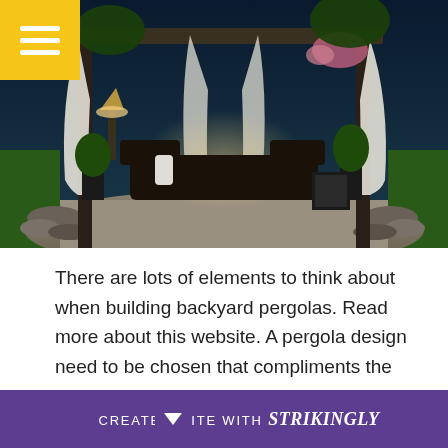[Figure (photo): Outdoor backyard pergola at night with white curtains, candles, and patio furniture on a stone patio surrounded by greenery and rocks.]
There are lots of elements to think about when building backyard pergolas. Read more about this website. A pergola design need to be chosen that compliments the location that it is mosting likely to be built in, considering the landscape as well as other bordering buildings and frameworks. View more about this page now! The selection of products for the pergola are endless. Some people even
CREATE A SITE WITH strikingly